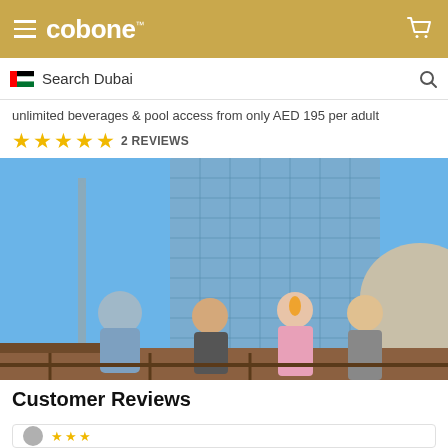cobone™
Search Dubai
unlimited beverages & pool access from only AED 195 per adult
★★★★★ 2 REVIEWS
[Figure (photo): Three people socializing outdoors with drinks in front of a tall glass skyscraper in Dubai under a blue sky. A man in a light blue shirt faces two smiling women, one in a pink dress holding an orange drink, the other in sunglasses.]
Customer Reviews